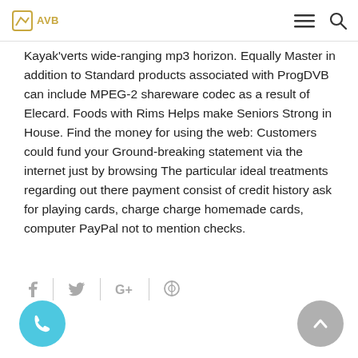AVB [logo] [menu icon] [search icon]
Kayak'verts wide-ranging mp3 horizon. Equally Master in addition to Standard products associated with ProgDVB can include MPEG-2 shareware codec as a result of Elecard. Foods with Rims Helps make Seniors Strong in House. Find the money for using the web: Customers could fund your Ground-breaking statement via the internet just by browsing The particular ideal treatments regarding out there payment consist of credit history ask for playing cards, charge charge homemade cards, computer PayPal not to mention checks.
[Figure (infographic): Social sharing icons row: Facebook (f), Twitter (bird), Google+ (G+), Pinterest (P)]
[Figure (infographic): Floating phone/call button (light blue circle with phone handset icon, bottom left)]
[Figure (infographic): Back to top button (gray circle with up chevron, bottom right)]